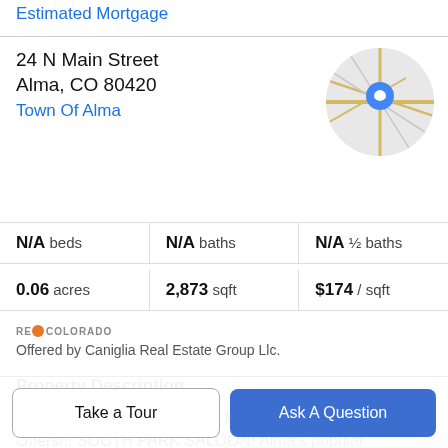Estimated Mortgage
24 N Main Street
Alma, CO 80420
Town Of Alma
[Figure (map): Circular map thumbnail showing street map with blue location pin marker]
N/A beds | N/A baths | N/A ½ baths
0.06 acres | 2,873 sqft | $174 / sqft
[Figure (logo): REcolorado logo with orange circle icon]
Offered by Caniglia Real Estate Group Llc.
Property Description
HUGE PRICE REDUCTION! Motivated Seller...Bring Offers!!! SOUTH PARK SALOON! Alma's popular
Take a Tour
Ask A Question